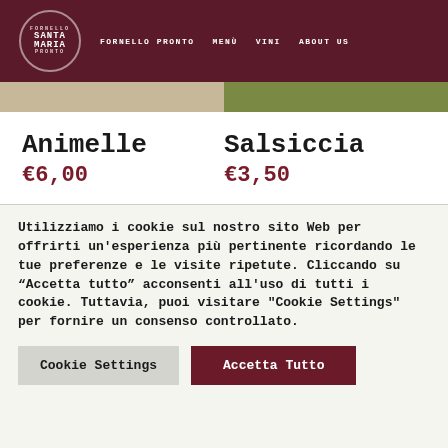SANTA MARIA — FORNELLO PRONTO | MENÙ | VINI | ABOUT US
Animelle
€6,00
Salsiccia
€3,50
Utilizziamo i cookie sul nostro sito Web per offrirti un'esperienza più pertinente ricordando le tue preferenze e le visite ripetute. Cliccando su “Accetta tutto” acconsenti all'uso di tutti i cookie. Tuttavia, puoi visitare "Cookie Settings" per fornire un consenso controllato.
Cookie Settings
Accetta Tutto